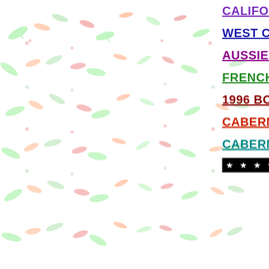[Figure (illustration): Tiled background pattern with small illustrated wine-related elements including green leaves, red and orange seeds/grapes, and green stems/shoots scattered across a white background]
CALIFORNIA vs F...
WEST COAST PIN...
AUSSIE SHIRAZ T...
FRENCH CHAMPA...
1996 BORDEAUX ...
CABERNET-INFLU...
CABERNETS OF T...
★ ★ ★ ★ ★ ★ ★ ★ ★ ★ ★ ★ ★ ★ ★ ★